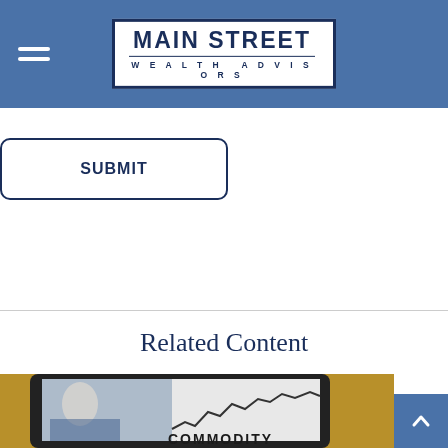Main Street Wealth Advisors
SUBMIT
Related Content
[Figure (photo): Photo of a tablet displaying a commodity chart with businesspeople in the background, along with the word COMMODITY visible]